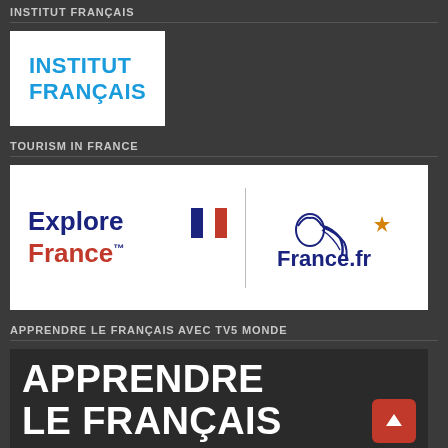INSTITUT FRANÇAIS
[Figure (logo): Institut Français logo: white background with bold blue uppercase text reading INSTITUT FRANÇAIS]
TOURISM IN FRANCE
[Figure (logo): Explore France TM logo on left with French flag icon, vertical divider, and France.fr logo with Marianne illustration and star on right]
APPRENDRE LE FRANÇAIS AVEC TV5 MONDE
[Figure (logo): Dark background with large bold white uppercase text reading APPRENDRE LE FRANÇAIS, with red back-to-top button in lower right]
FLE.FR